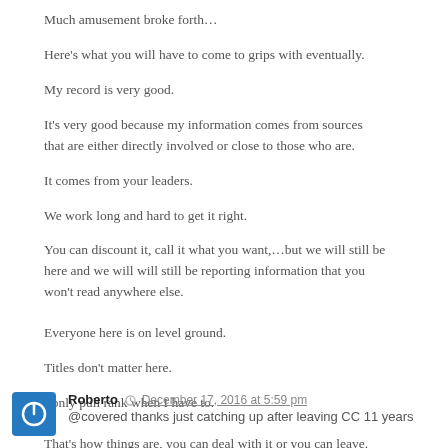Much amusement broke forth…
Here's what you will have to come to grips with eventually.
My record is very good.
It's very good because my information comes from sources that are either directly involved or close to those who are.
It comes from your leaders.
We work long and hard to get it right.
You can discount it, call it what you want,…but we will still be here and we will will still be reporting information that you won't read anywhere else.
Everyone here is on level ground.
Titles don't matter here.
I only pull rank when I have to.
That's how things are, you can deal with it or you can leave.
Roberto  December 17, 2016 at 5:59 pm
@covered thanks just catching up after leaving CC 11 years